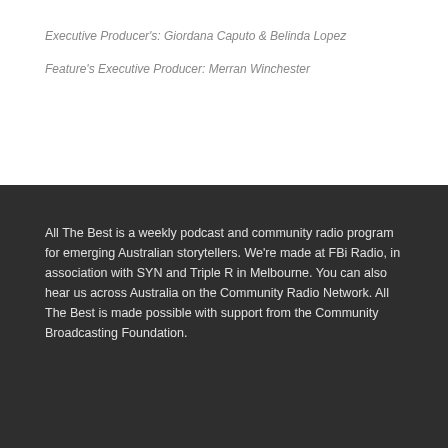Executive Producer's:  Giordana Caputo & Belinda Lopez
Feature's Executive Producer:  Merran Winchester
All The Best is a weekly podcast and community radio program for emerging Australian storytellers. We're made at FBi Radio, in association with SYN and Triple R in Melbourne. You can also hear us across Australia on the Community Radio Network. All The Best is made possible with support from the Community Broadcasting Foundation.